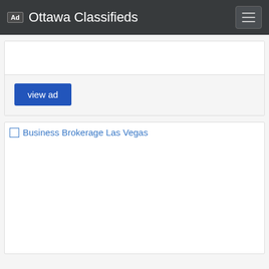Ad Ottawa Classifieds
view ad
[Figure (illustration): Broken image placeholder with alt text 'Business Brokerage Las Vegas' shown in blue link color, indicating a missing or unloaded image on the classifieds listing page.]